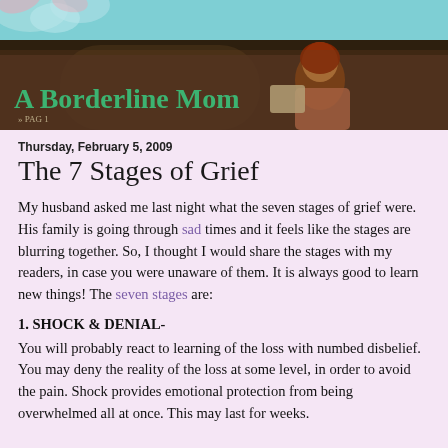[Figure (photo): Blog header banner showing a painting of a woman with reddish-brown hair looking at a document, overlaid with the blog title 'A Borderline Mom' in green cursive text on a teal/light blue background with decorative floral elements]
Thursday, February 5, 2009
The 7 Stages of Grief
My husband asked me last night what the seven stages of grief were. His family is going through sad times and it feels like the stages are blurring together. So, I thought I would share the stages with my readers, in case you were unaware of them. It is always good to learn new things! The seven stages are:
1. SHOCK & DENIAL-
You will probably react to learning of the loss with numbed disbelief. You may deny the reality of the loss at some level, in order to avoid the pain. Shock provides emotional protection from being overwhelmed all at once. This may last for weeks.